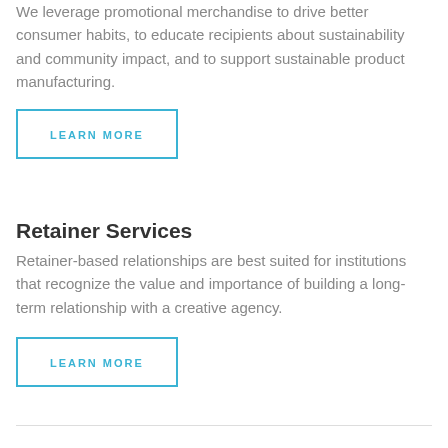We leverage promotional merchandise to drive better consumer habits, to educate recipients about sustainability and community impact, and to support sustainable product manufacturing.
LEARN MORE
Retainer Services
Retainer-based relationships are best suited for institutions that recognize the value and importance of building a long-term relationship with a creative agency.
LEARN MORE